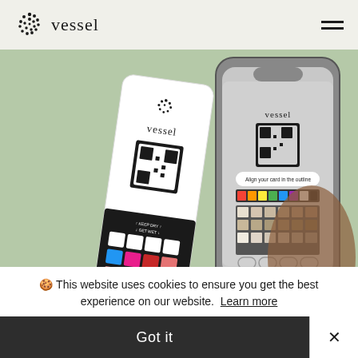vessel
[Figure (photo): Hero image showing a Vessel health test strip (white card with QR code and color reference squares) alongside a smartphone scanning the strip via the Vessel app. Background is sage green.]
🍪 This website uses cookies to ensure you get the best experience on our website. Learn more
Got it